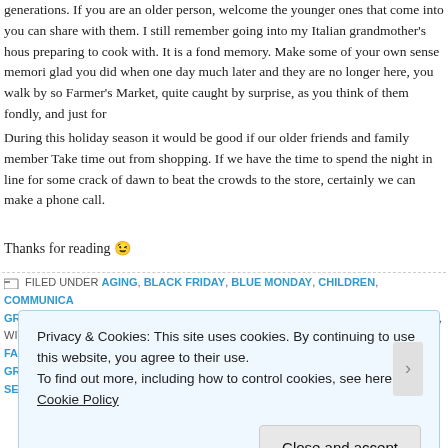generations. If you are an older person, welcome the younger ones that come into you can share with them. I still remember going into my Italian grandmother's hous preparing to cook with. It is a fond memory. Make some of your own sense memori glad you did when one day much later and they are no longer here, you walk by so Farmer's Market, quite caught by surprise, as you think of them fondly, and just for
During this holiday season it would be good if our older friends and family member Take time out from shopping. If we have the time to spend the night in line for some crack of dawn to beat the crowds to the store, certainly we can make a phone call.
Thanks for reading 😉
FILED UNDER AGING, BLACK FRIDAY, BLUE MONDAY, CHILDREN, COMMUNICA GRAY THURSDAY, INTERGENERATIONAL, PARENTS, SENIOR CITIZENS, SENIORS, WITH AGEING, AGING, BLACK FRIDAY, BLUE MONDAY, CHILDREN, FAMILIES, FAMIL GREY THURSDAY, INTERGENERATIONAL, MULTIGENERATIONAL, PARENTS, SENIO
Privacy & Cookies: This site uses cookies. By continuing to use this website, you agree to their use. To find out more, including how to control cookies, see here: Cookie Policy
Close and accept